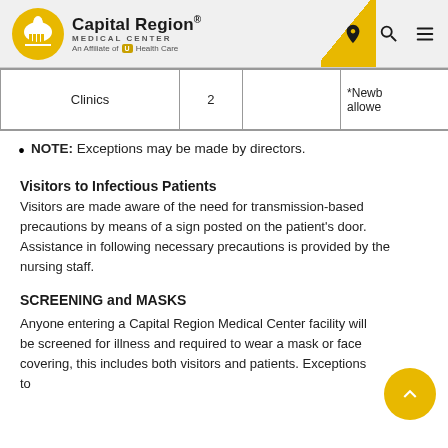[Figure (logo): Capital Region Medical Center logo with gold dome icon and navigation icons]
|  |  |  |  |
| --- | --- | --- | --- |
| Clinics | 2 |  | *Newb allowe |
NOTE: Exceptions may be made by directors.
Visitors to Infectious Patients
Visitors are made aware of the need for transmission-based precautions by means of a sign posted on the patient's door. Assistance in following necessary precautions is provided by the nursing staff.
SCREENING and MASKS
Anyone entering a Capital Region Medical Center facility will be screened for illness and required to wear a mask or face covering, this includes both visitors and patients. Exceptions to